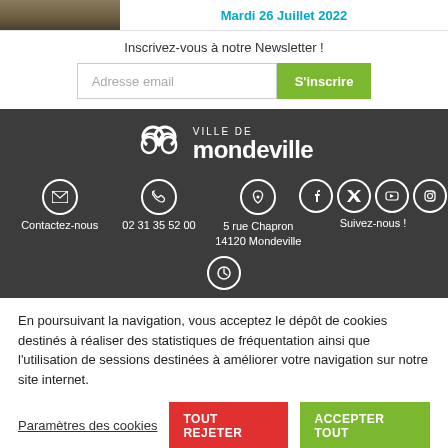[Figure (photo): Thumbnail image at top left, outdoors scene]
Mardi 26 Juillet 2022
Inscrivez-vous à notre Newsletter !
[Figure (other): Email input field with S'inscrire button]
[Figure (logo): Ville de Mondeville logo with stylized M icon and white text on dark background]
Contactez-nous
02 31 35 52 00
5 rue Chapron
14120 Mondeville
Suivez-nous !
En poursuivant la navigation, vous acceptez le dépôt de cookies destinés à réaliser des statistiques de fréquentation ainsi que l'utilisation de sessions destinées à améliorer votre navigation sur notre site internet.
Paramètres des cookies
TOUT REJETER
ACCEPTER TOUT